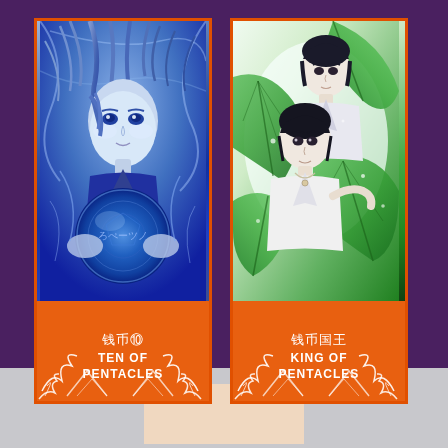[Figure (illustration): Two tarot cards side by side on a purple background. Left card: 'Ten of Pentacles' (钱币⑩) featuring an anime-style figure with blue hair holding a large glowing blue orb/pentacle, blue mystical background. Right card: 'King of Pentacles' (钱币国王) featuring two anime-style figures (taller male and shorter figure) surrounded by large tropical green leaves on a white background. Both cards have orange footers with white Chinese text and bold English card names, and white ornamental scroll designs at the bottom.]